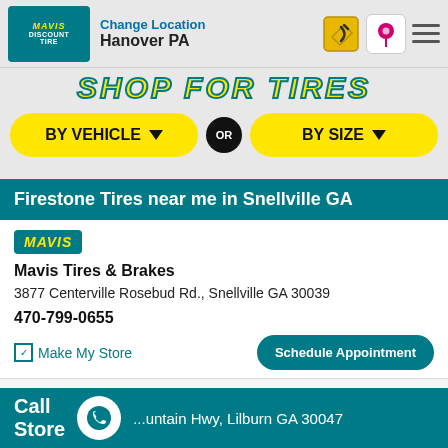Change Location
Hanover PA
[Figure (screenshot): SHOP FOR TIRES banner text in yellow italic bold font]
[Figure (infographic): Two yellow buttons: BY VEHICLE and BY SIZE with OR circle in between]
Firestone Tires near me in Snellville GA
[Figure (logo): MAVIS logo badge in teal background with yellow italic text]
Mavis Tires & Brakes
3877 Centerville Rosebud Rd., Snellville GA 30039
470-799-0655
✓ Make My Store
Schedule Appointment
[Figure (logo): MAVIS logo badge in teal background with yellow italic text]
Mavis Tires & Brakes
...untain Hwy, Lilburn GA 30047
Call
Store